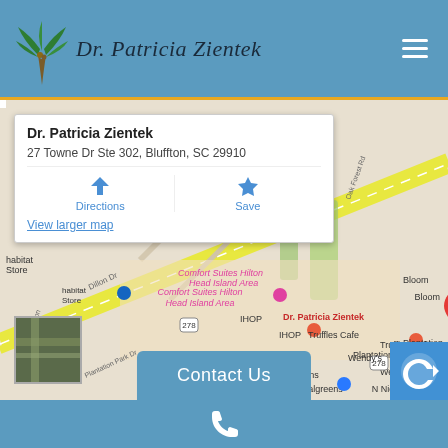Dr. Patricia Zientek
[Figure (map): Google Maps screenshot showing location of Dr. Patricia Zientek at 27 Towne Dr Ste 302, Bluffton, SC 29910. Nearby landmarks include Comfort Suites Hilton Head Island Area, IHOP, Truffles Cafe, Wendy's, Kroger, Walgreens, N Nick's Bar-B-Q, Plantation Point, Bloom.]
Dr. Patricia Zientek
27 Towne Dr Ste 302, Bluffton, SC 29910
View larger map
Contact Us
Phone icon